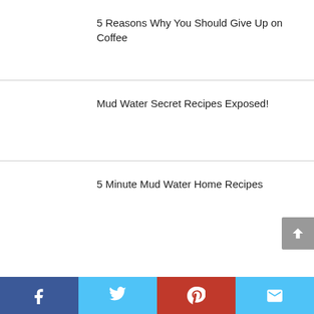5 Reasons Why You Should Give Up on Coffee
Mud Water Secret Recipes Exposed!
5 Minute Mud Water Home Recipes
[Figure (infographic): Social share footer bar with Facebook, Twitter, Pinterest, and email icons]